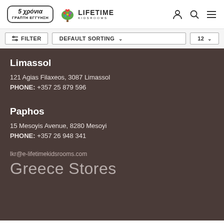[Figure (logo): Lifetime Kidsrooms logo with 5-year written guarantee badge and colorful tree illustration]
FILTER  DEFAULT SORTING  12
Limassol
121 Agias Filaxeos, 3087 Limassol
PHONE: +357 25 879 596
Paphos
15 Mesoyis Avenue, 8280 Mesoyi
PHONE: +357 26 948 341
lkr@e-lifetimekidsrooms.com
Greece Stores